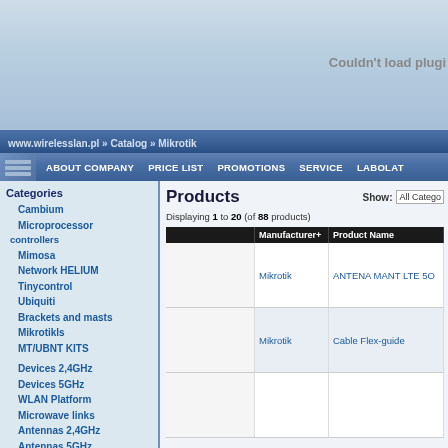[Figure (screenshot): Top banner area with blue gradient background and plugin error message 'Couldn't load plugin']
www.wirelesslan.pl » Catalog » Mikrotik
ABOUT COMPANY  PRICE LIST  PROMOTIONS  SERVICE  LABOLAT
Categories
Cambium
Microprocessor controllers
Mimosa
Network HELIUM
Tinycontrol
Ubiquiti
Brackets and masts
Mikrotikls
MT/UBNT KITS
Devices 2,4GHz
Devices 5GHz
WLAN Platform
Microwave links
Antennas 2,4GHz
Antennas 5GHz
Products
Displaying 1 to 20 (of 88 products)
|  | Manufacturer+ | Product Name |
| --- | --- | --- |
|  | Mikrotik | ANTENA MANT LTE 5O |
|  | Mikrotik | Cable Flex-guide |
|  |  |  |